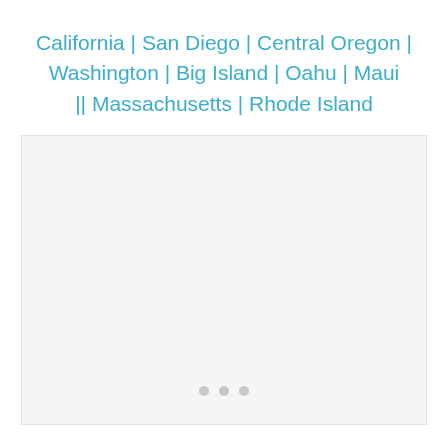California | San Diego | Central Oregon | Washington | Big Island | Oahu | Maui || Massachusetts | Rhode Island
[Figure (other): A light gray placeholder image box with three small gray dots centered near the bottom, indicating a loading or empty image region.]